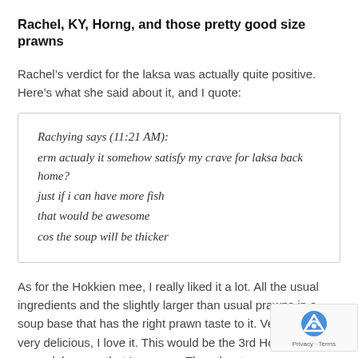Rachel, KY, Horng, and those pretty good size prawns
Rachel’s verdict for the laksa was actually quite positive. Here’s what she said about it, and I quote:
Rachying says (11:21 AM):
erm actualy it somehow satisfy my crave for laksa back home?
just if i can have more fish
that would be awesome
cos the soup will be thicker
As for the Hokkien mee, I really liked it a lot. All the usual ingredients and the slightly larger than usual prawns in a soup base that has the right prawn taste to it. Very p and very delicious, I love it. This would be the 3rd Ho mee place around the area that I approve. The other two